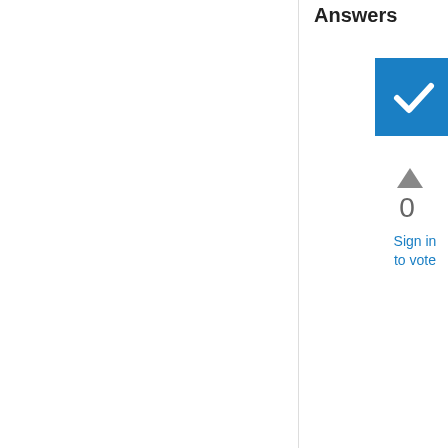Answers
[Figure (other): Blue checkbox/accepted answer icon with white checkmark]
0
Sign in
to vote
You could add ‘Sau khi’ to Word’s Autocorrect entries as both the from and to text.

Cheers
Paul Edstein
[MS MVP - Word]
Marked as answer by  DoLeVu  Thursday, July 19, 2012 2:56 AM
Wednesday, July 18, 2012 1:57 PM